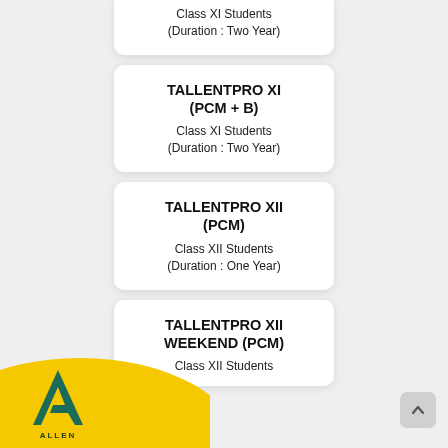WEEKEND (PCM)
Class XI Students
(Duration : Two Year)
TALLENTPRO XI (PCM + B)
Class XI Students
(Duration : Two Year)
TALLENTPRO XII (PCM)
Class XII Students
(Duration : One Year)
TALLENTPRO XII WEEKEND (PCM)
Class XII Students
[Figure (logo): ALLEN logo at bottom left with yellow decorative blob]